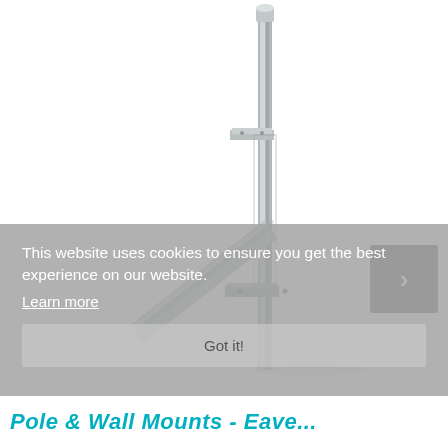[Figure (photo): A galvanized steel pole and wall mount bracket assembly. The bracket is a diagonal flat metal arm connecting to a vertical pole/mast. The pole has clamps and mounting hardware. The product is photographed on a white background.]
This website uses cookies to ensure you get the best experience on our website.
Learn more
Got it!
Pole & Wall Mounts - Eave...